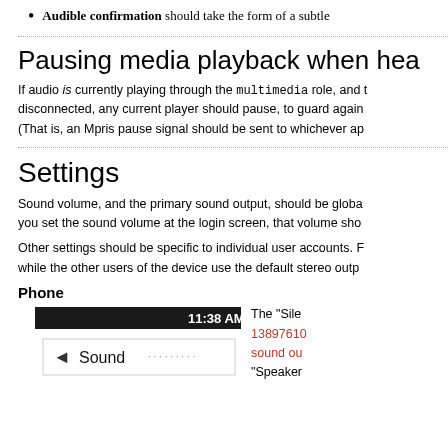Audible confirmation should take the form of a subtle
Pausing media playback when hea
If audio is currently playing through the multimedia role, and the headset is disconnected, any current player should pause, to guard again (That is, an Mpris pause signal should be sent to whichever ap
Settings
Sound volume, and the primary sound output, should be globa you set the sound volume at the login screen, that volume sho
Other settings should be specific to individual user accounts. F while the other users of the device use the default stereo outp
Phone
[Figure (screenshot): Phone screenshot showing Sound settings screen with time 11:38 AM and a Sound menu item with left arrow]
The "Sile 13897610 sound ou "Speaker